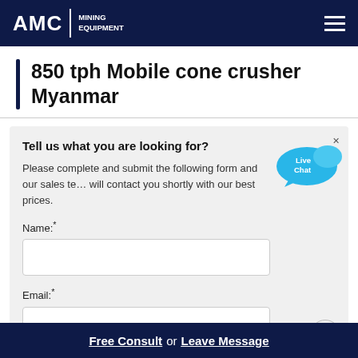AMC MINING EQUIPMENT
850 tph Mobile cone crusher Myanmar
Tell us what you are looking for?
Please complete and submit the following form and our sales team will contact you shortly with our best prices.
Name:*
Email:*
[Figure (illustration): Live Chat speech bubble icon in blue]
Free Consult  or  Leave Message